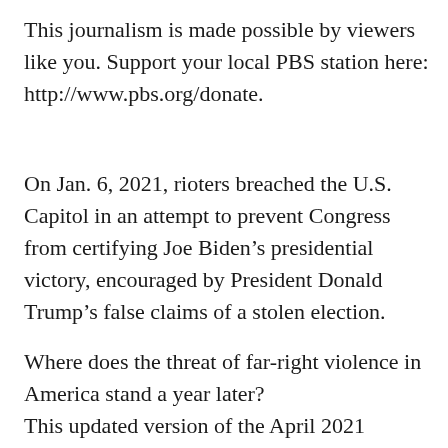This journalism is made possible by viewers like you. Support your local PBS station here: http://www.pbs.org/donate.
On Jan. 6, 2021, rioters breached the U.S. Capitol in an attempt to prevent Congress from certifying Joe Biden’s presidential victory, encouraged by President Donald Trump’s false claims of a stolen election.
Where does the threat of far-right violence in America stand a year later?
This updated version of the April 2021 documentary “American Insurrection”